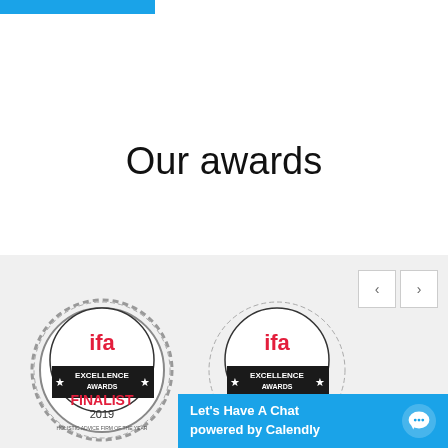[Figure (other): Blue horizontal bar at top left of page]
Our awards
[Figure (other): IFA Excellence Awards Finalist 2019 badge - Holistic Advice Firm of the Year]
[Figure (other): IFA Excellence Awards Finalist badge (second, partial view)]
[Figure (other): Carousel navigation buttons (left and right arrows)]
Let's Have A Chat
powered by Calendly